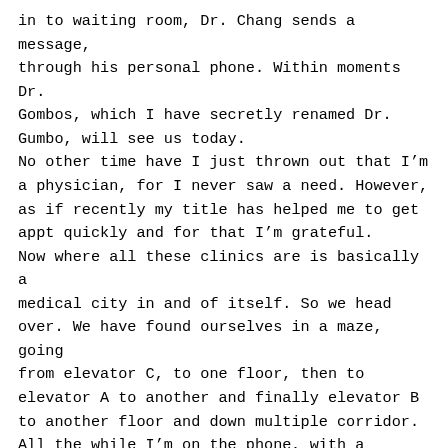in to waiting room, Dr. Chang sends a message, through his personal phone. Within moments Dr. Gombos, which I have secretly renamed Dr. Gumbo, will see us today. No other time have I just thrown out that I'm a physician, for I never saw a need. However, as if recently my title has helped me to get appt quickly and for that I'm grateful. Now where all these clinics are is basically a medical city in and of itself. So we head over. We have found ourselves in a maze, going from elevator C, to one floor, then to elevator A to another and finally elevator B to another floor and down multiple corridor. All the while I'm on the phone, with a patient advocated trying to register Emerson as a new patient. As we sat and waited for over 4 hours, I